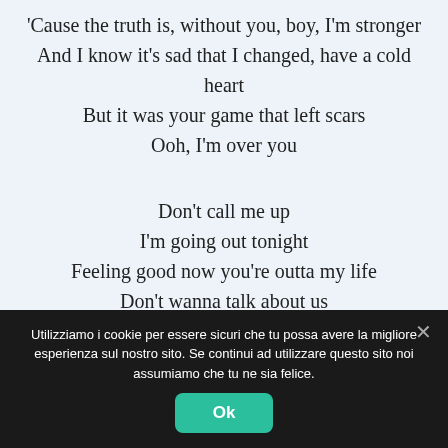'Cause the truth is, without you, boy, I'm stronger
And I know it's sad that I changed, have a cold heart
But it was your game that left scars
Ooh, I'm over you

Don't call me up
I'm going out tonight
Feeling good now you're outta my life
Don't wanna talk about us
Gotta leave it behind
One drink and you're outta my mind
Utilizziamo i cookie per essere sicuri che tu possa avere la migliore esperienza sul nostro sito. Se continui ad utilizzare questo sito noi assumiamo che tu ne sia felice.